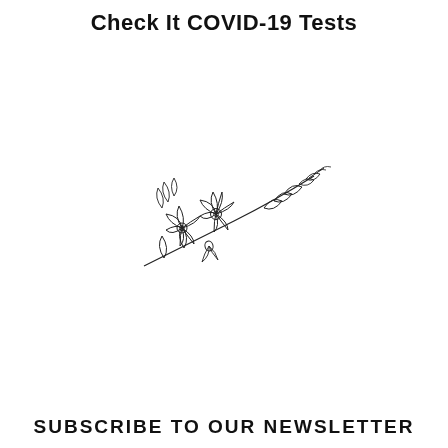Check It COVID-19 Tests
[Figure (illustration): Line drawing of floral arrangement with two large flowers, leaves and a small sprig, rendered in black ink on white background, positioned diagonally]
SUBSCRIBE TO OUR NEWSLETTER